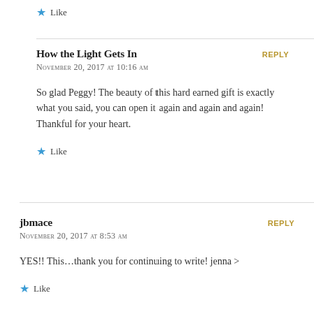★ Like
How the Light Gets In
November 20, 2017 at 10:16 am
REPLY
So glad Peggy! The beauty of this hard earned gift is exactly what you said, you can open it again and again and again! Thankful for your heart.
★ Like
jbmace
November 20, 2017 at 8:53 am
REPLY
YES!! This…thank you for continuing to write! jenna >
★ Like